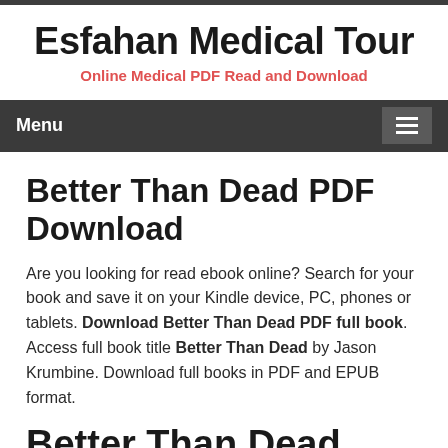Esfahan Medical Tour
Online Medical PDF Read and Download
Menu
Better Than Dead PDF Download
Are you looking for read ebook online? Search for your book and save it on your Kindle device, PC, phones or tablets. Download Better Than Dead PDF full book. Access full book title Better Than Dead by Jason Krumbine. Download full books in PDF and EPUB format.
Better Than Dead